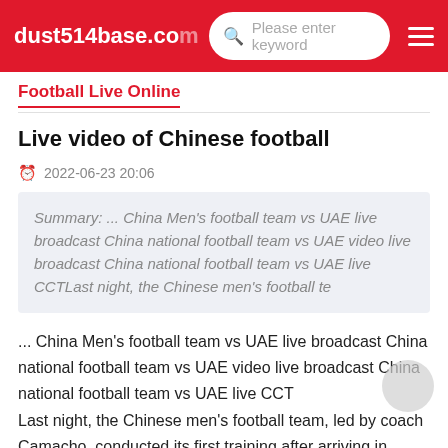dust514base.com
Football Live Online
Live video of Chinese football
2022-06-23 20:06
Summary: ... China Men's football team vs UAE live broadcast China national football team vs UAE video live broadcast China national football team vs UAE live CCTLast night, the Chinese men's football te
... China Men's football team vs UAE live broadcast China national football team vs UAE video live broadcast China national football team vs UAE live CCT
Last night, the Chinese men's football team, led by coach Camacho, conducted its first training after arriving in